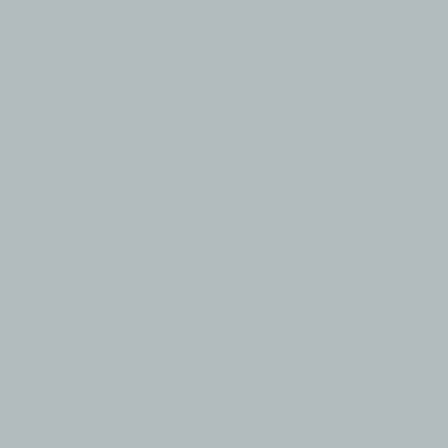(i.e. condensation) taking pla... mostly in mid-latitude climate... (called dewfall which has bee... life. Suddenly this year in spr... time experienced substantial... wondering how this came abo... explanation. (This change ca... experienced drizzle in a so fa... another story)..
However, after reading the th... sublimation process, I came t... sublimation large-scale shou... (what goes up – must come d... picked up by models, we will ... remaining sea ice will be gon...
I do realize that dewfall does... energy will stay up in the air,... the adjacent ocean area (with... same issue is with drizzle, wh... moisture from maritime air ma... clouds), when these air mass...
So to sum up: As long as we...